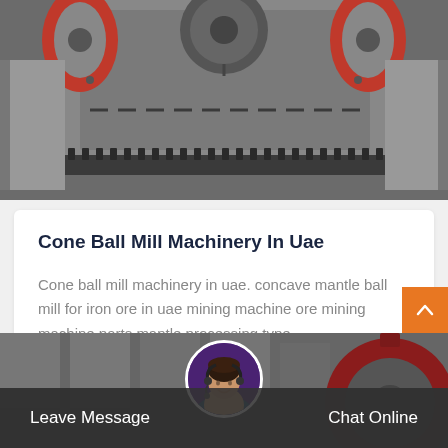[Figure (photo): Industrial machinery - cone ball mill / crusher equipment, grey metal parts with red accents and gear teeth visible at bottom]
Cone Ball Mill Machinery In Uae
Cone ball mill machinery in uae. concave mantle ball mill for iron ore in uae mining machine ore mining machine parts mantle processing type…
More Details
[Figure (photo): Industrial building exterior with large machinery gears, dark overlay at bottom with customer service representative avatar]
Leave Message   Chat Online